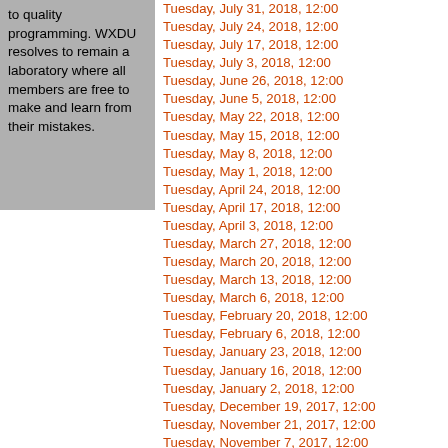to quality programming. WXDU resolves to remain a laboratory where all members are free to make and learn from their mistakes.
Tuesday, July 31, 2018, 12:00
Tuesday, July 24, 2018, 12:00
Tuesday, July 17, 2018, 12:00
Tuesday, July 3, 2018, 12:00
Tuesday, June 26, 2018, 12:00
Tuesday, June 5, 2018, 12:00
Tuesday, May 22, 2018, 12:00
Tuesday, May 15, 2018, 12:00
Tuesday, May 8, 2018, 12:00
Tuesday, May 1, 2018, 12:00
Tuesday, April 24, 2018, 12:00
Tuesday, April 17, 2018, 12:00
Tuesday, April 3, 2018, 12:00
Tuesday, March 27, 2018, 12:00
Tuesday, March 20, 2018, 12:00
Tuesday, March 13, 2018, 12:00
Tuesday, March 6, 2018, 12:00
Tuesday, February 20, 2018, 12:00
Tuesday, February 6, 2018, 12:00
Tuesday, January 23, 2018, 12:00
Tuesday, January 16, 2018, 12:00
Tuesday, January 2, 2018, 12:00
Tuesday, December 19, 2017, 12:00
Tuesday, November 21, 2017, 12:00
Tuesday, November 7, 2017, 12:00
Monday, October 16, 2017, 12:00
Monday, October 2, 2017, 12:00
Monday, September 18, 2017, 12:00
Wednesday, August 30, 2017, 12:00
Wednesday, August 16, 2017, 12:00
Wednesday, August 2, 2017, 12:00
Wednesday, July 26, 2017, 12:00
Wednesday, July 19, 2017, 12:00